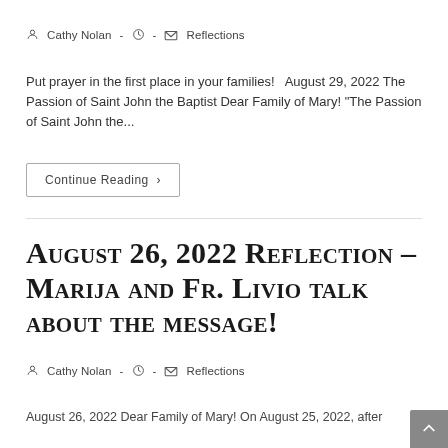Cathy Nolan  -  [clock icon]  -  [folder icon]  Reflections
Put prayer in the first place in your families!   August 29, 2022 The Passion of Saint John the Baptist Dear Family of Mary! "The Passion of Saint John the...
Continue Reading ›
August 26, 2022 Reflection – Marija and Fr. Livio talk about the message!
Cathy Nolan  -  [clock icon]  -  [folder icon]  Reflections
August 26, 2022 Dear Family of Mary! On August 25, 2022, after